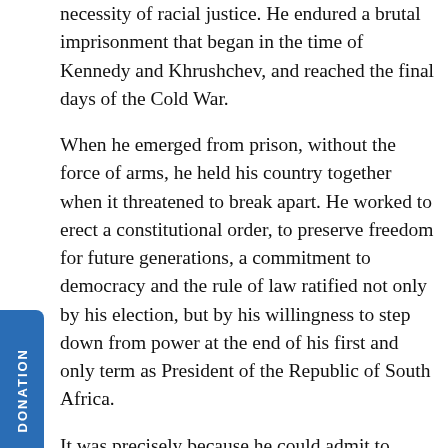necessity of racial justice. He endured a brutal imprisonment that began in the time of Kennedy and Khrushchev, and reached the final days of the Cold War.
When he emerged from prison, without the force of arms, he held his country together when it threatened to break apart. He worked to erect a constitutional order, to preserve freedom for future generations, a commitment to democracy and the rule of law ratified not only by his election, but by his willingness to step down from power at the end of his first and only term as President of the Republic of South Africa.
It was precisely because he could admit to imperfection, because he could be so full of good humor, even mischief, despite the heavy burdens he carried, that we loved him so much. He was not